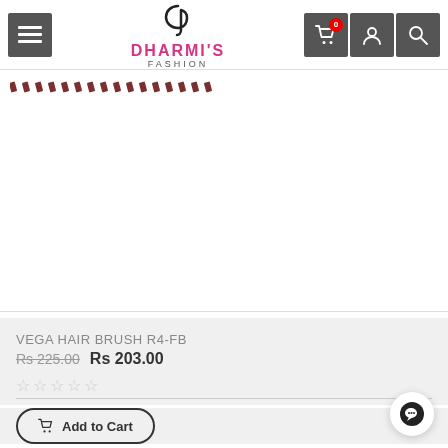Dharmi's Fashion - navigation header with menu, logo, cart (0), account, and search icons
[Figure (photo): Product image area for Vega Hair Brush R4-FB with decorative stripe pattern at top]
VEGA HAIR BRUSH R4-FB
Rs 225.00 Rs 203.00
☆☆☆☆☆ (star rating, no stars filled)
Add to Cart